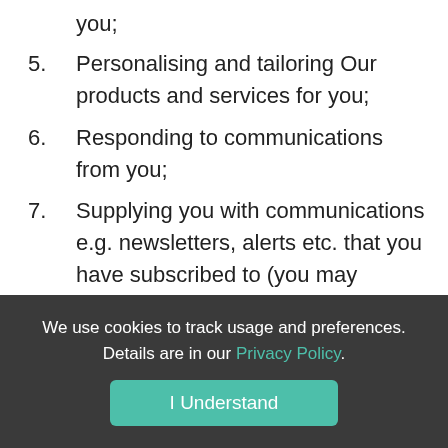you;
5. Personalising and tailoring Our products and services for you;
6. Responding to communications from you;
7. Supplying you with communications e.g. newsletters, alerts etc. that you have subscribed to (you may unsubscribe or opt-out at any time by updating your preferences in your account).
We use cookies to track usage and preferences. Details are in our Privacy Policy.
I Understand